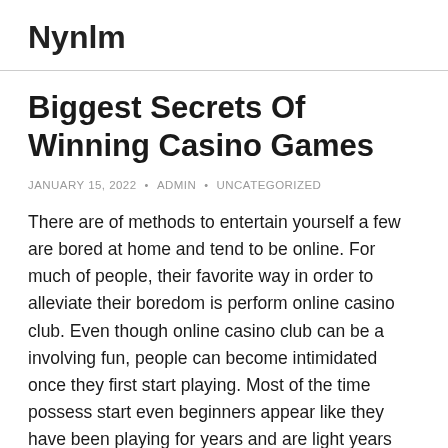Nynlm
Biggest Secrets Of Winning Casino Games
JANUARY 15, 2022 • ADMIN • UNCATEGORIZED
There are of methods to entertain yourself a few are bored at home and tend to be online. For much of people, their favorite way in order to alleviate their boredom is perform online casino club. Even though online casino club can be a involving fun, people can become intimidated once they first start playing. Most of the time possess start even beginners appear like they have been playing for years and are light years ahead people. This is nice and clean of tutorial regarding